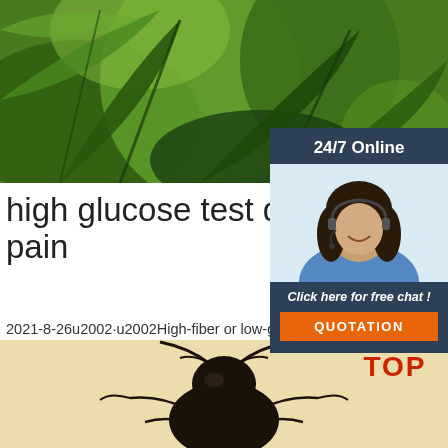[Figure (photo): Close-up photo of green tropical plant leaves with bokeh background]
[Figure (illustration): Sidebar advertisement with '24/7 Online' text, woman with headset customer service photo, 'Click here for free chat!' text, and orange QUOTATION button on dark blue background]
high glucose test during pre ????leg pain
2021-8-26u2002·u2002High-fiber or low-glycemi help keep your blood sugar more even and help longer as well. Cross off juice, sweet tea, soda, a with added sugars from your gestational diabete: 'Avoid foods high in ...
[Figure (illustration): Green 'Get Price' button]
[Figure (logo): TOP logo with orange dots arranged in triangle above red/orange TOP text]
[Figure (photo): Close-up photo of insect (beetle) on light beige background]